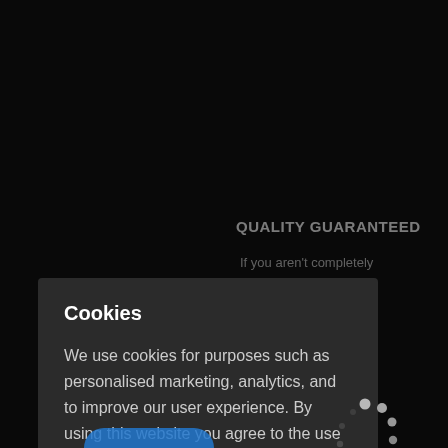QUALITY GUARANTEED
If you aren't completely
 your order, you
 a refund within
0 days!
Cookies
We use cookies for purposes such as personalised marketing, analytics, and to improve our user experience. By using this website you agree to the use of cookies. Learn More
GOT IT